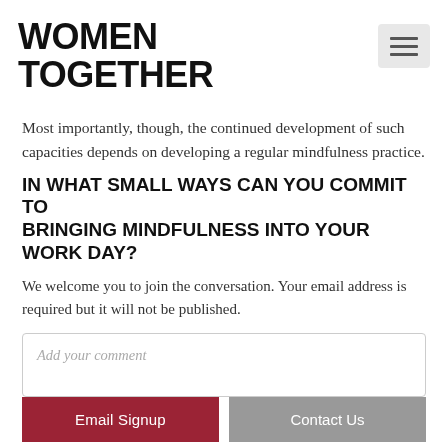WOMEN TOGETHER
Most importantly, though, the continued development of such capacities depends on developing a regular mindfulness practice.
IN WHAT SMALL WAYS CAN YOU COMMIT TO BRINGING MINDFULNESS INTO YOUR WORK DAY?
We welcome you to join the conversation. Your email address is required but it will not be published.
Add your comment
Email Signup
Contact Us